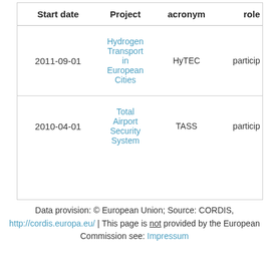| Start date | Project | acronym | role |
| --- | --- | --- | --- |
| 2011-09-01 | Hydrogen Transport in European Cities | HyTEC | particip |
| 2010-04-01 | Total Airport Security System | TASS | particip |
Data provision: © European Union; Source: CORDIS, http://cordis.europa.eu/ | This page is not provided by the European Commission see: Impressum